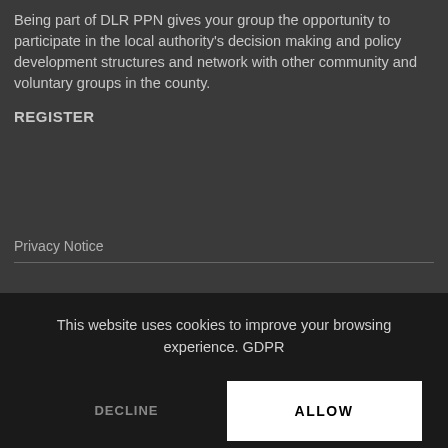Being part of DLR PPN gives your group the opportunity to participate in the local authority's decision making and policy development structures and network with other community and voluntary groups in the county.
REGISTER
Privacy Notice
This website uses cookies to improve your browsing experience. GDPR
DECLINE
ALLOW